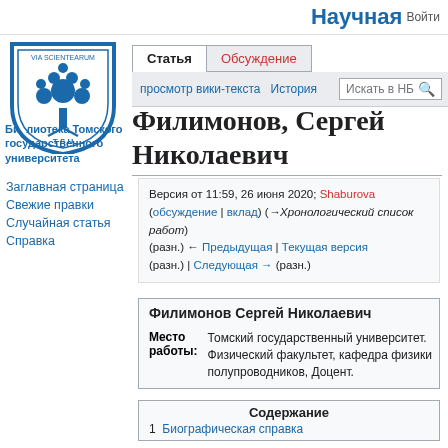Научная  Войти
[Figure (logo): TSU Library shield logo with tree and text VIA SCIENTEARUM]
Библиотека Томского государственного университета
Статья  Обсуждение
Просмотр вики-текста  История  Искать в НБ
Филимонов, Сергей Николаевич
Заглавная страница
Свежие правки
Случайная статья
Справка
Версия от 11:59, 26 июня 2020; Shaburova (обсуждение | вклад) (→Хронологический список работ) (разн.) ← Предыдущая | Текущая версия (разн.) | Следующая → (разн.)
| Филимонов Сергей Николаевич |
| --- |
| Место работы: | Томский государственный университет. Физический факультет, кафедра физики полупроводников, Доцент. |
Содержание
1  Биографическая справка